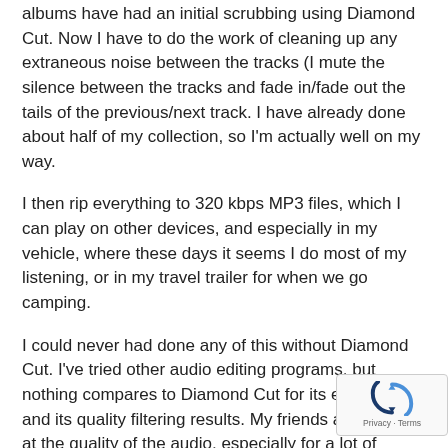albums have had an initial scrubbing using Diamond Cut. Now I have to do the work of cleaning up any extraneous noise between the tracks (I mute the silence between the tracks and fade in/fade out the tails of the previous/next track. I have already done about half of my collection, so I'm actually well on my way.
I then rip everything to 320 kbps MP3 files, which I can play on other devices, and especially in my vehicle, where these days it seems I do most of my listening, or in my travel trailer for when we go camping.
I could never had done any of this without Diamond Cut. I've tried other audio editing programs, but nothing compares to Diamond Cut for its ease of use and its quality filtering results. My friends are amazed at the quality of the audio, especially for a lot of content that otherwise would have been lost to the annals of time.
I also have about 2000 CDs that I am in the process of also (again, about halfway through), and a number of MP3
[Figure (logo): reCAPTCHA badge with rotating arrows icon and Privacy - Terms text]